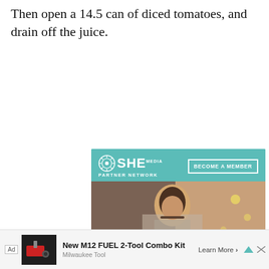Then open a 14.5 can of diced tomatoes, and drain off the juice.
[Figure (advertisement): SHE Media Partner Network advertisement with 'BECOME A MEMBER' button, photo of a smiling woman with glasses using a laptop, and text 'WE HELP CONTENT CREATORS GROW BUSINESSES THROUGH...' with 'LEARN MORE' button]
Onto the stove!
[Figure (advertisement): Bottom banner ad for 'New M12 FUEL 2-Tool Combo Kit' by Milwaukee Tool with 'Learn More' link, showing power tools image]